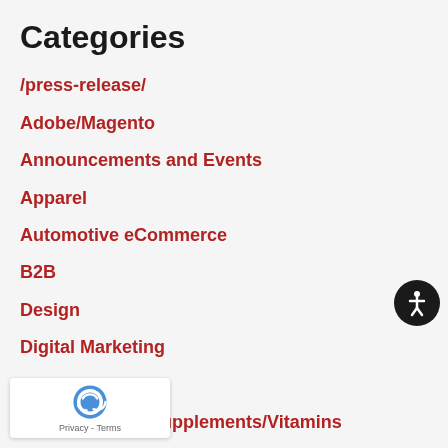Categories
/press-release/
Adobe/Magento
Announcements and Events
Apparel
Automotive eCommerce
B2B
Design
Digital Marketing
eCommerce
Nutraceuticals/Supplements/Vitamins
…s and Friends
…newsletters
PPC